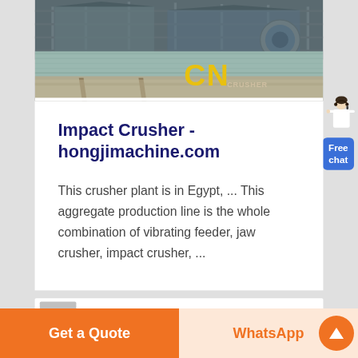[Figure (photo): Industrial crusher plant facility with a river/water body in foreground, industrial buildings and equipment in background. Yellow 'CN' letters visible on the image with a watermark.]
Impact Crusher - hongjimachine.com
This crusher plant is in Egypt, ... This aggregate production line is the whole combination of vibrating feeder, jaw crusher, impact crusher, ...
Get a Quote | WhatsApp